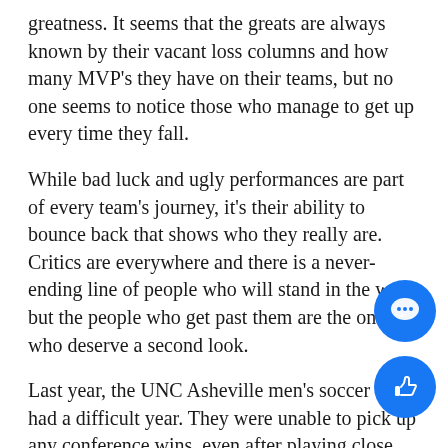greatness. It seems that the greats are always known by their vacant loss columns and how many MVP's they have on their teams, but no one seems to notice those who manage to get up every time they fall.
While bad luck and ugly performances are part of every team's journey, it's their ability to bounce back that shows who they really are. Critics are everywhere and there is a never-ending line of people who will stand in the way, but the people who get past them are the ones who deserve a second look.
Last year, the UNC Asheville men's soccer team had a difficult year. They were unable to pick up any conference wins, even after playing close with some nationally ranked teams in the Big South.
They fought through a lot of ups and down